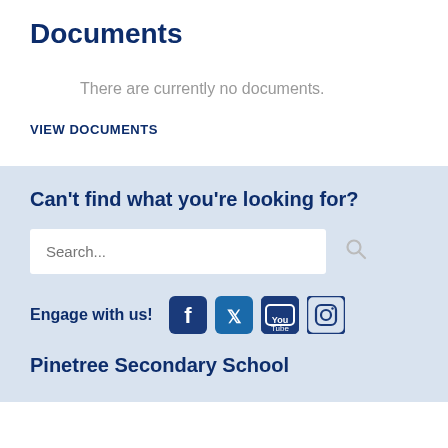Documents
There are currently no documents.
VIEW DOCUMENTS
Can't find what you're looking for?
Search...
Engage with us!
Pinetree Secondary School